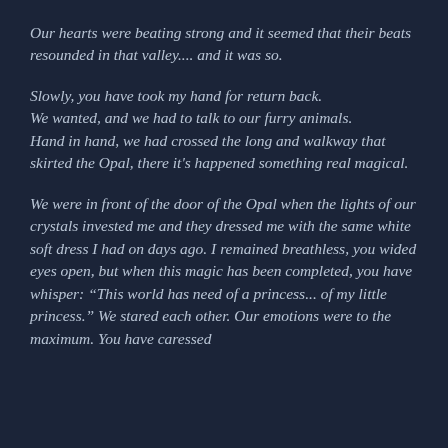Our hearts were beating strong and it seemed that their beats resounded in that valley.... and it was so.
Slowly, you have took my hand for return back. We wanted, and we had to talk to our furry animals. Hand in hand, we had crossed the long and walkway that skirted the Opal, there it's happened something real magical.
We were in front of the door of the Opal when the lights of our crystals invested me and they dressed me with the same white soft dress I had on days ago. I remained breathless, you wided eyes open, but when this magic has been completed, you have whisper: “This world has need of a princess... of my little princess.” We stared each other. Our emotions were to the maximum. You have caressed